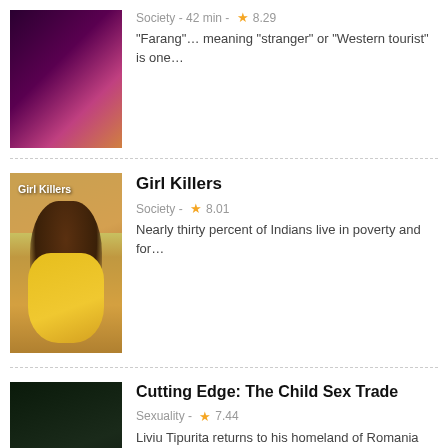[Figure (photo): Thumbnail image for documentary about 'Farang', dark purple tones]
Society - 42 min - ★8.29
"Farang"... meaning "stranger" or "Western tourist" is one...
[Figure (photo): Thumbnail image for 'Girl Killers' showing a young Indian girl in yellow dress]
Girl Killers
Society - ★8.01
Nearly thirty percent of Indians live in poverty and for...
[Figure (photo): Thumbnail image for 'Cutting Edge: The Child Sex Trade', dark tones]
Cutting Edge: The Child Sex Trade
Sexuality - ★7.44
Liviu Tipurita returns to his homeland of Romania to...